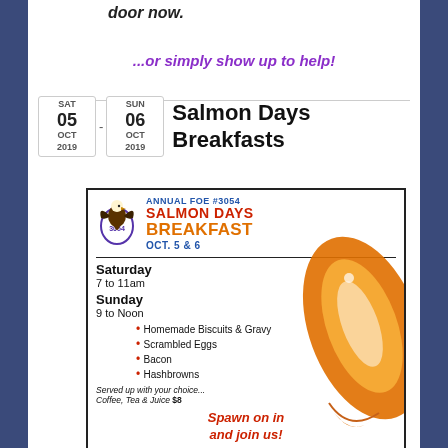door now.
...or simply show up to help!
SAT 05 OCT 2019 - SUN 06 OCT 2019  Salmon Days Breakfasts
[Figure (flyer): Annual FOE #3054 Salmon Days Breakfast flyer, Oct. 5 & 6. Saturday 7 to 11am, Sunday 9 to Noon. Menu: Homemade Biscuits & Gravy, Scrambled Eggs, Bacon, Hashbrowns. Served up with your choice... Coffee, Tea & Juice $8. Spawn on in and join us! Open to the Public!]